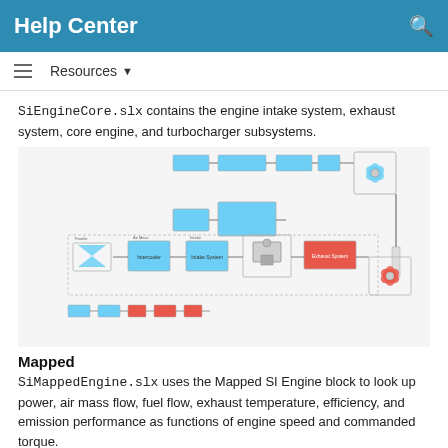Help Center
Resources ▼
SiEngineCore.slx contains the engine intake system, exhaust system, core engine, and turbocharger subsystems.
[Figure (engineering-diagram): Simulink block diagram of SiEngineCore showing engine intake system, exhaust system, core engine (with blue and red subsystem blocks), and turbocharger subsystems connected by signal lines.]
Mapped
SiMappedEngine.slx uses the Mapped SI Engine block to look up power, air mass flow, fuel flow, exhaust temperature, efficiency, and emission performance as functions of engine speed and commanded torque.
S...